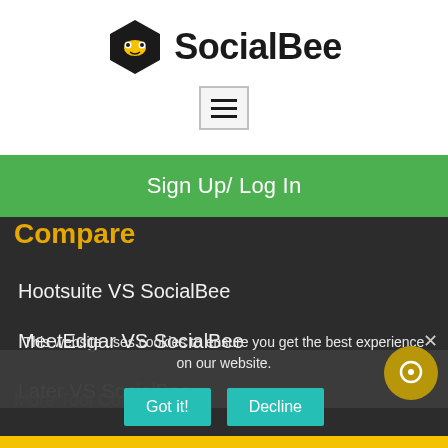[Figure (logo): SocialBee logo with hexagon bee icon and bold SocialBee text]
[Figure (screenshot): Hamburger menu button with three horizontal lines]
Sign Up/ Log In
Compare
Hootsuite VS SocialBee
MeetEdgar VS SocialBee
Later VS SocialBee
More Tool Comparisons
This website uses cookies to ensure you get the best experience on our website.
Got it!
Decline